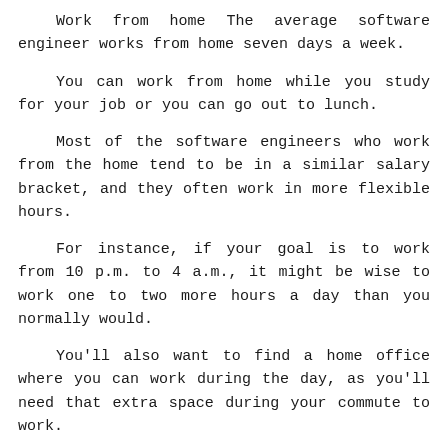Work from home The average software engineer works from home seven days a week.
You can work from home while you study for your job or you can go out to lunch.
Most of the software engineers who work from the home tend to be in a similar salary bracket, and they often work in more flexible hours.
For instance, if your goal is to work from 10 p.m. to 4 a.m., it might be wise to work one to two more hours a day than you normally would.
You'll also want to find a home office where you can work during the day, as you'll need that extra space during your commute to work.
2/3 of the workforce Software engineers make up just about 1% of the global workforce.